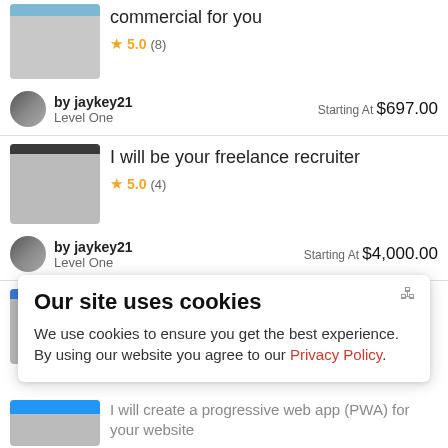commercial for you
★ 5.0 (8)
by jaykey21
Level One
Starting At $697.00
I will be your freelance recruiter
★ 5.0 (4)
by jaykey21
Level One
Starting At $4,000.00
I will give you a local SEO domination campaign
★ 5.0 (10+)
Our site uses cookies
We use cookies to ensure you get the best experience. By using our website you agree to our Privacy Policy.
I will create a progressive web app (PWA) for your website